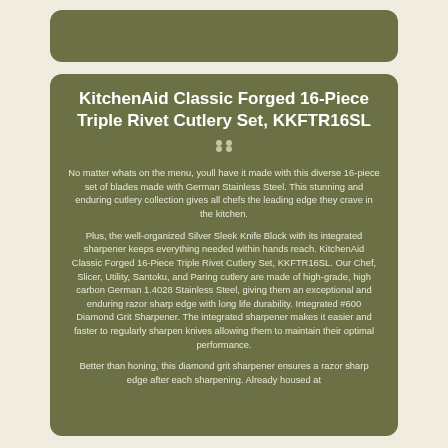KitchenAid Classic Forged 16-Piece Triple Rivet Cutlery Set, KKFTR16SL
No matter whats on the menu, youll have it made with this diverse 16-piece set of blades made with German Stainless Steel. This stunning and enduring cutlery collection gives all chefs the leading edge they crave in the kitchen.
Plus, the well-organized Silver Sleek Knife Block with its integrated sharpener keeps everything needed within hands reach. KitchenAid Classic Forged 16-Piece Triple Rivet Cutlery Set, KKFTR16SL. Our Chef, Slicer, Utility, Santoku, and Paring cutlery are made of high-grade, high carbon German 1.4028 Stainless Steel, giving them an exceptional and enduring razor sharp edge with long life durability. Integrated #600 Diamond Grit Sharpener. The integrated sharpener makes it easier and faster to regularly sharpen knives allowing them to maintain their optimal performance.
Better than honing, this diamond grit sharpener ensures a razor sharp edge after each sharpening. Already housed at...